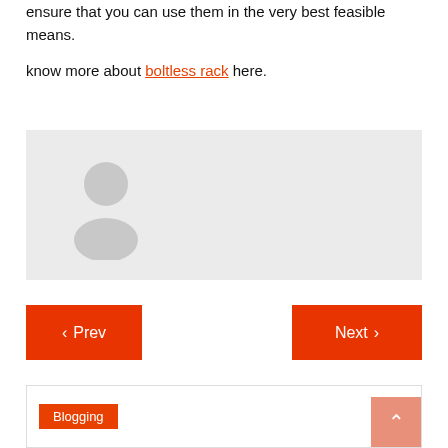ensure that you can use them in the very best feasible means.
know more about boltless rack here.
[Figure (illustration): Default user avatar icon — grey circle with white person silhouette on a light grey background]
‹ Prev
Next ›
Blogging